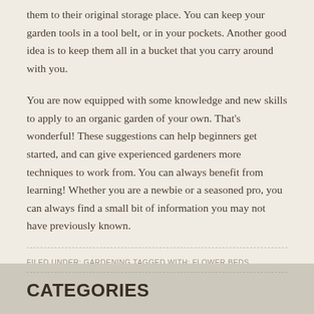them to their original storage place. You can keep your garden tools in a tool belt, or in your pockets. Another good idea is to keep them all in a bucket that you carry around with you.
You are now equipped with some knowledge and new skills to apply to an organic garden of your own. That's wonderful! These suggestions can help beginners get started, and can give experienced gardeners more techniques to work from. You can always benefit from learning! Whether you are a newbie or a seasoned pro, you can always find a small bit of information you may not have previously known.
FILED UNDER: GARDENING TAGGED WITH: FLOWER BEDS, ORGANIC GARDENING
CATEGORIES